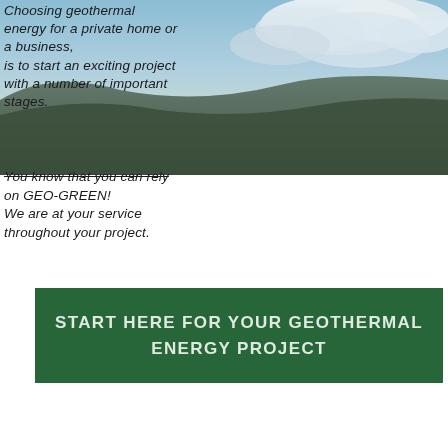[Figure (illustration): Background image of sky with clouds and landscape, covering the top portion of the page]
Choosing geothermal energy for a private home or a business, is to start an exciting project with a number of important stages.
You know that you can rely on GEO-GREEN! We are at your service throughout your project.
START HERE FOR YOUR GEOTHERMAL ENERGY PROJECT